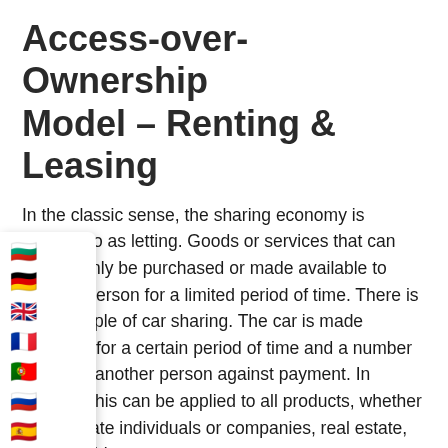Access-over-Ownership Model – Renting & Leasing
In the classic sense, the sharing economy is referred to as letting. Goods or services that can usually only be purchased or made available to another person for a limited period of time. There is the example of car sharing. The car is made available for a certain period of time and a number of km for another person against payment. In general, this can be applied to all products, whether from private individuals or companies, real estate, or intangible assets.
Typical examples: Airbnb, Sharoo, Mobility, Lyft
6. User Experience Premium
This is an experience model that can be applied to...